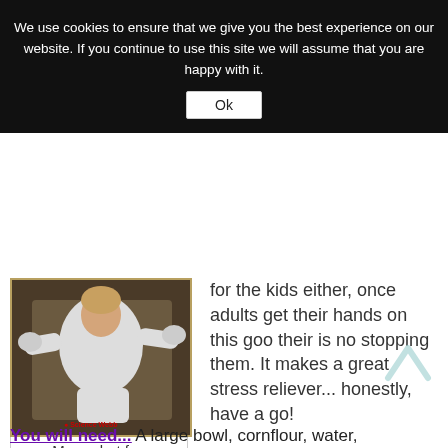We use cookies to ensure that we give you the best experience on our website. If you continue to use this site we will assume that you are happy with it.
Ok
[Figure (photo): A young child in a white outfit stretching or playing with a stretchy goo material. Watermark reads 'Science Webb'.]
Messy but fun
for the kids either, once adults get their hands on this goo their is no stopping them. It makes a great stress reliever... honestly, have a go!
You will need... A large bowl, cornflour, water,